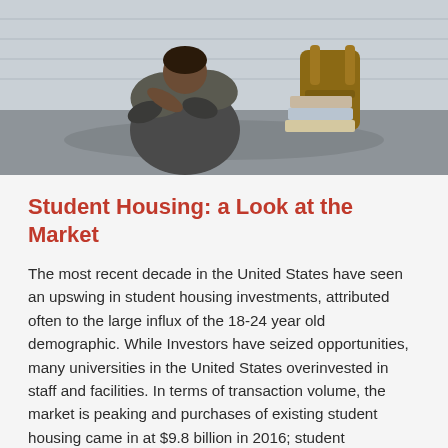[Figure (photo): A student sitting on the floor against a wall with their knees up, head bowed down. A backpack and stacked books are visible beside them.]
Student Housing: a Look at the Market
The most recent decade in the United States have seen an upswing in student housing investments, attributed often to the large influx of the 18-24 year old demographic. While Investors have seized opportunities, many universities in the United States overinvested in staff and facilities. In terms of transaction volume, the market is peaking and purchases of existing student housing came in at $9.8 billion in 2016; student construction rose to $5.1 billion the same year. This